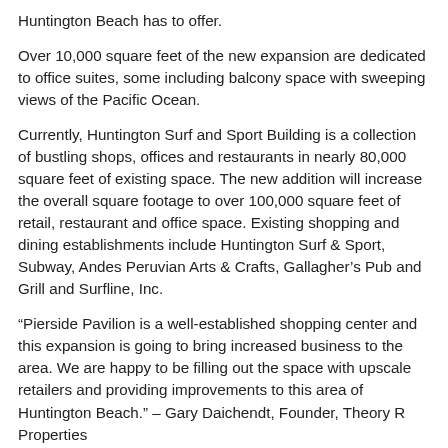Huntington Beach has to offer.
Over 10,000 square feet of the new expansion are dedicated to office suites, some including balcony space with sweeping views of the Pacific Ocean.
Currently, Huntington Surf and Sport Building is a collection of bustling shops, offices and restaurants in nearly 80,000 square feet of existing space. The new addition will increase the overall square footage to over 100,000 square feet of retail, restaurant and office space. Existing shopping and dining establishments include Huntington Surf & Sport, Subway, Andes Peruvian Arts & Crafts, Gallagher's Pub and Grill and Surfline, Inc.
“Pierside Pavilion is a well-established shopping center and this expansion is going to bring increased business to the area. We are happy to be filling out the space with upscale retailers and providing improvements to this area of Huntington Beach.” – Gary Daichendt, Founder, Theory R Properties
Other improvements to the Huntington Beach area are happening around the same time frame. Just to the south of